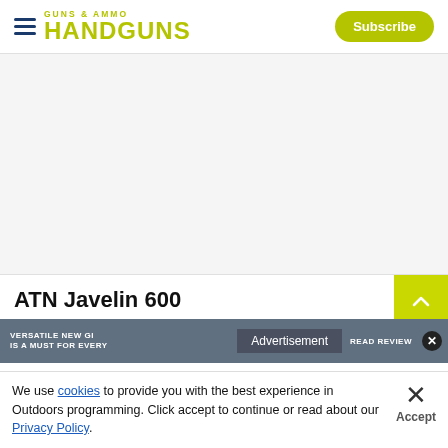HANDGUNS | Subscribe
[Figure (photo): White/blank image area representing an article photo placeholder]
ATN Javelin 600
[Figure (other): Advertisement banner overlay with text 'VERSATILE NEW GI IS A MUST FOR EVERY' and 'READ REVIEW' button]
By
We use cookies to provide you with the best experience in Outdoors programming. Click accept to continue or read about our Privacy Policy.